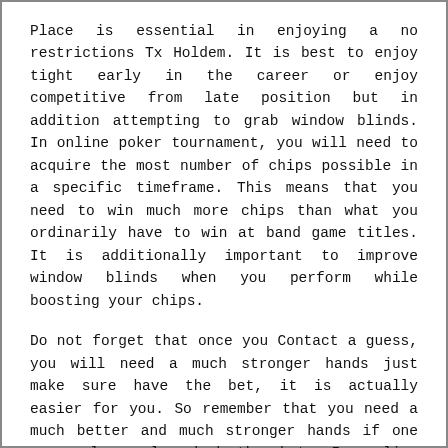Place is essential in enjoying a no restrictions Tx Holdem. It is best to enjoy tight early in the career or enjoy competitive from late position but in addition attempting to grab window blinds. In online poker tournament, you will need to acquire the most number of chips possible in a specific timeframe. This means that you need to win much more chips than what you ordinarily have to win at band game titles. It is additionally important to improve window blinds when you perform while boosting your chips.
Do not forget that once you Contact a guess, you will need a much stronger hands just make sure have the bet, it is actually easier for you. So remember that you need a much better and much stronger hands if one more player launched the bet. In online poker tournaments, it is also vital that you have concentration. If you have multiple table layout, then emphasis all by yourself desk and then try to obtain as numerous chips as you can well before thinking of other furniture.